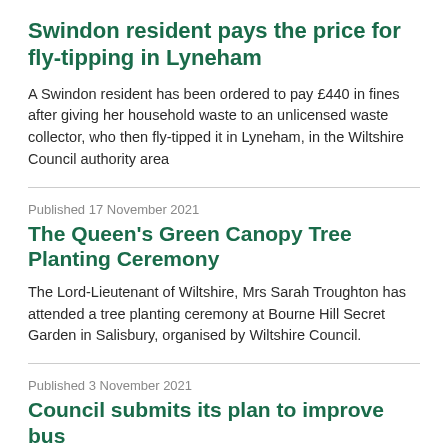Swindon resident pays the price for fly-tipping in Lyneham
A Swindon resident has been ordered to pay £440 in fines after giving her household waste to an unlicensed waste collector, who then fly-tipped it in Lyneham, in the Wiltshire Council authority area
Published 17 November 2021
The Queen's Green Canopy Tree Planting Ceremony
The Lord-Lieutenant of Wiltshire, Mrs Sarah Troughton has attended a tree planting ceremony at Bourne Hill Secret Garden in Salisbury, organised by Wiltshire Council.
Published 3 November 2021
Council submits its plan to improve bus